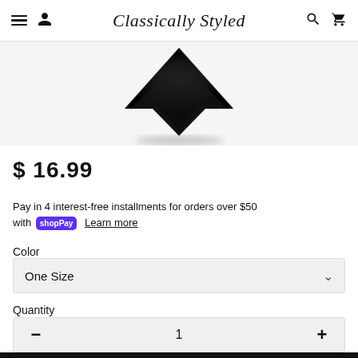Classically Styled
[Figure (photo): Black triangular/diamond shaped product (likely a hat or accessory) shown from above against white background]
$ 16.99
Pay in 4 interest-free installments for orders over $50 with shop Pay  Learn more
Color
One Size
Quantity
1